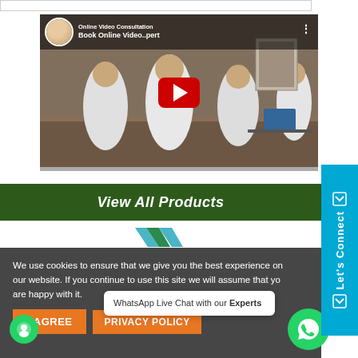[Figure (screenshot): YouTube video thumbnail showing doctors in white coats at a desk with title 'Online Video Consultation - Book Online Video...pert' and a red YouTube play button in the center]
View All Products
[Figure (logo): Partial logo visible below the green banner]
We use cookies to ensure that we give you the best experience on our website. If you continue to use this site we will assume that you are happy with it.
I AGREE
PRIVACY POLICY
WhatsApp Live Chat with our Experts
Let's Connect